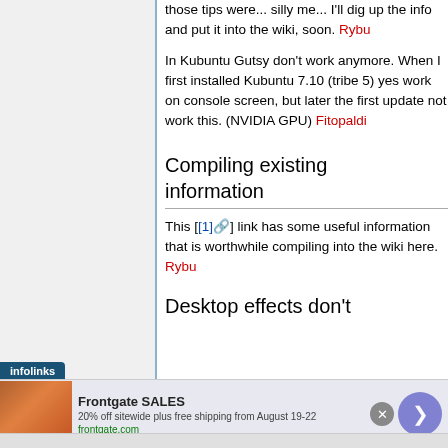those tips were... silly me... I'll dig up the info and put it into the wiki, soon. Rybu
In Kubuntu Gutsy don't work anymore. When I first installed Kubuntu 7.10 (tribe 5) yes work on console screen, but later the first update not work this. (NVIDIA GPU) Fitopaldi
Compiling existing information
This [[1] ] link has some useful information that is worthwhile compiling into the wiki here. Rybu
Desktop effects don't
Frontgate SALES — 20% off sitewide plus free shipping from August 19-22 — frontgate.com